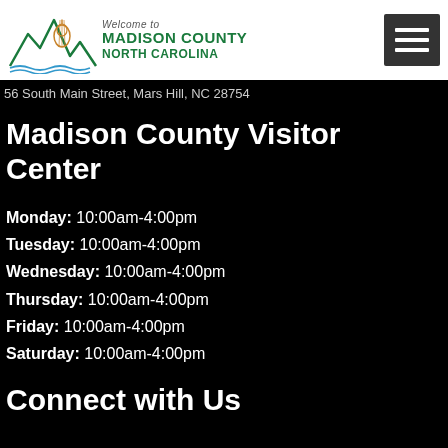Welcome to Madison County North Carolina
56 South Main Street, Mars Hill, NC 28754
Madison County Visitor Center
Monday: 10:00am-4:00pm
Tuesday: 10:00am-4:00pm
Wednesday: 10:00am-4:00pm
Thursday: 10:00am-4:00pm
Friday: 10:00am-4:00pm
Saturday: 10:00am-4:00pm
Connect with Us